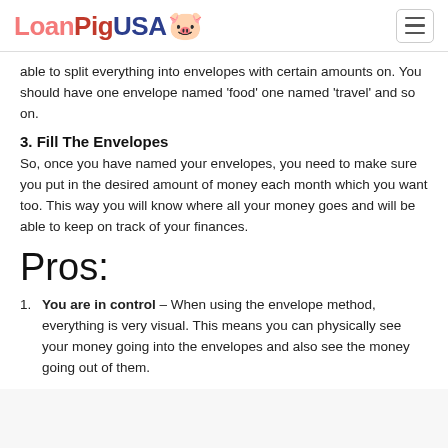LoanPigUSA
able to split everything into envelopes with certain amounts on. You should have one envelope named ‘food’ one named ‘travel’ and so on.
3. Fill The Envelopes
So, once you have named your envelopes, you need to make sure you put in the desired amount of money each month which you want too. This way you will know where all your money goes and will be able to keep on track of your finances.
Pros:
You are in control – When using the envelope method, everything is very visual. This means you can physically see your money going into the envelopes and also see the money going out of them.